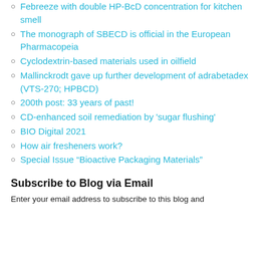Febreeze with double HP-BcD concentration for kitchen smell
The monograph of SBECD is official in the European Pharmacopeia
Cyclodextrin-based materials used in oilfield
Mallinckrodt gave up further development of adrabetadex (VTS-270; HPBCD)
200th post: 33 years of past!
CD-enhanced soil remediation by 'sugar flushing'
BIO Digital 2021
How air fresheners work?
Special Issue “Bioactive Packaging Materials”
Subscribe to Blog via Email
Enter your email address to subscribe to this blog and